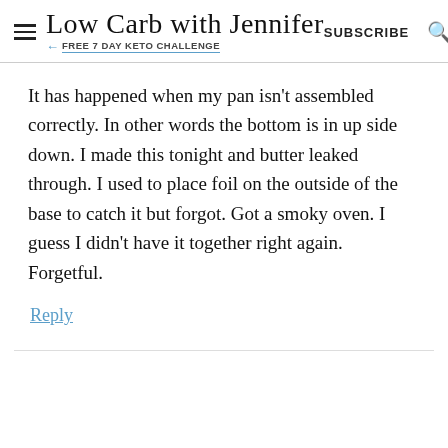Low Carb with Jennifer | FREE 7 DAY KETO CHALLENGE | SUBSCRIBE
It has happened when my pan isn't assembled correctly. In other words the bottom is in up side down. I made this tonight and butter leaked through. I used to place foil on the outside of the base to catch it but forgot. Got a smoky oven. I guess I didn't have it together right again. Forgetful.
Reply